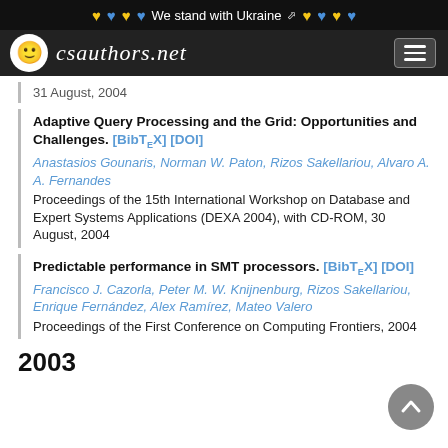We stand with Ukraine
csauthors.net
31 August, 2004
Adaptive Query Processing and the Grid: Opportunities and Challenges. [BibTeX] [DOI]
Anastasios Gounaris, Norman W. Paton, Rizos Sakellariou, Alvaro A. A. Fernandes
Proceedings of the 15th International Workshop on Database and Expert Systems Applications (DEXA 2004), with CD-ROM, 30 August, 2004
Predictable performance in SMT processors. [BibTeX] [DOI]
Francisco J. Cazorla, Peter M. W. Knijnenburg, Rizos Sakellariou, Enrique Fernández, Alex Ramírez, Mateo Valero
Proceedings of the First Conference on Computing Frontiers, 2004
2003